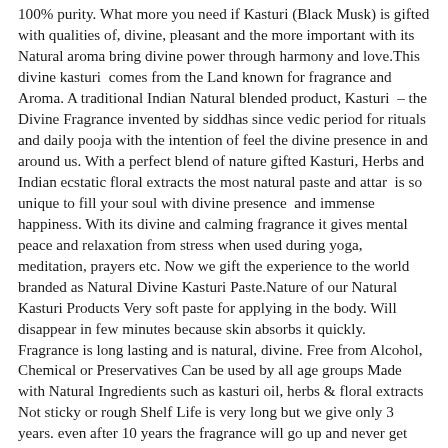100% purity. What more you need if Kasturi (Black Musk) is gifted with qualities of, divine, pleasant and the more important with its Natural aroma bring divine power through harmony and love.This divine kasturi&nbsp; comes from the Land known for fragrance and Aroma.&nbsp;A traditional Indian Natural blended product, Kasturi&nbsp; &ndash; the Divine Fragrance invented by siddhas since vedic period for rituals and daily pooja with the intention of feel the divine presence in and around us. With a perfect blend of nature gifted Kasturi, Herbs and Indian ecstatic floral extracts the most natural paste and attar&nbsp; is so unique to fill your soul with divine presence&nbsp; and immense happiness. With its divine and calming fragrance it gives mental peace and relaxation from stress when used during yoga, meditation, prayers etc. Now we gift the experience to the world branded as Natural Divine Kasturi Paste.Nature of our Natural Kasturi Products Very soft paste for applying in the body. Will disappear in few minutes because skin absorbs it quickly. Fragrance is long lasting and is natural, divine. Free from Alcohol, Chemical or Preservatives Can be used by all age groups Made with Natural Ingredients such as kasturi oil, herbs &amp; floral extracts Not sticky or rough Shelf Life is very long but we give only 3 years. even after 10 years the fragrance will go up and never get spoiled because of its divine quality. Details : Packing :&nbsp;10gm Paste &amp; 3ml Roll on Grade :&nbsp;Sovereign Gold Delivery :&nbsp;1 week from order and 100% TT Payment